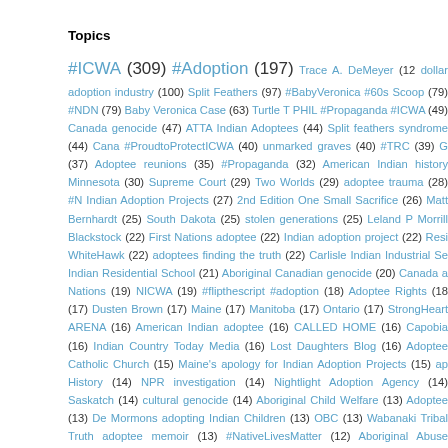Topics
#ICWA (309) #Adoption (197) Trace A. DeMeyer (12) dollar adoption industry (100) Split Feathers (97) #BabyVeronica #60s Scoop (79) #NDN (79) Baby Veronica Case (63) Turtle T PHIL #Propaganda #ICWA (49) Canada genocide (47) ATTA Indian Adoptees (44) Split feathers syndrome (44) Cana #ProudtoProtectICWA (40) unmarked graves (40) #TRC (39) G (37) Adoptee reunions (35) #Propaganda (32) American Indian history Minnesota (30) Supreme Court (29) Two Worlds (29) adoptee trauma (28) #N Indian Adoption Projects (27) 2nd Edition One Small Sacrifice (26) Matt Bernhardt (25) South Dakota (25) stolen generations (25) Leland P Morrill Blackstock (22) First Nations adoptee (22) Indian adoption project (22) Resi WhiteHawk (22) adoptees finding the truth (22) Carlisle Indian Industrial Se Indian Residential School (21) Aboriginal Canadian genocide (20) Canada a Nations (19) NICWA (19) #flipthescript #adoption (18) Adoptee Rights (18) (17) Dusten Brown (17) Maine (17) Manitoba (17) Ontario (17) StrongHeart ARENA (16) American Indian adoptee (16) CALLED HOME (16) Capobia (16) Indian Country Today Media (16) Lost Daughters Blog (16) Adoptee Catholic Church (15) Maine's apology for Indian Adoption Projects (15) ap History (14) NPR investigation (14) Nightlight Adoption Agency (14) Saskatch (14) cultural genocide (14) Aboriginal Child Welfare (13) Adoptee (13) De Mormons adopting Indian Children (13) OBC (13) Wabanaki Tribal Truth adoptee memoir (13) #NativeLivesMatter (12) Aboriginal Abuse Canada